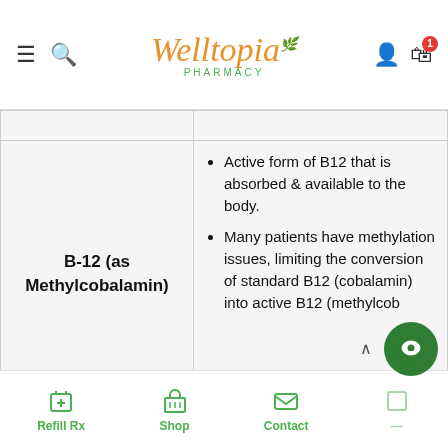Welltopia Pharmacy
| Ingredient | Details |
| --- | --- |
| B-12 (as Methylcobalamin) | Active form of B12 that is absorbed & available to the body. Many patients have methylation issues, limiting the conversion of standard B12 (cobalamin) into active B12 (methylcob...) |
Refill Rx | Shop | Contact